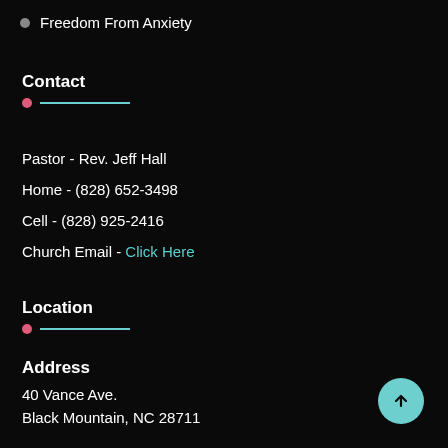Freedom From Anxiety
Contact
Pastor - Rev. Jeff Hall
Home - (828) 652-3498
Cell - (828) 925-2416
Church Email - Click Here
Location
Address
40 Vance Ave.
Black Mountain, NC 28711